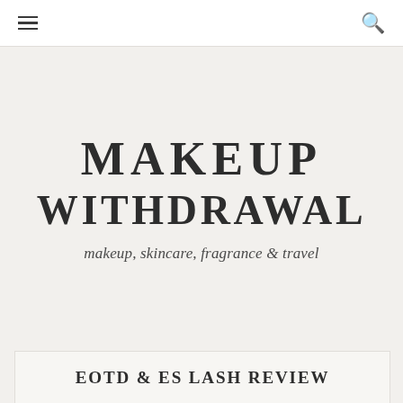≡  🔍
MAKEUP WITHDRAWAL
makeup, skincare, fragrance & travel
EOTD & ES LASH REVIEW